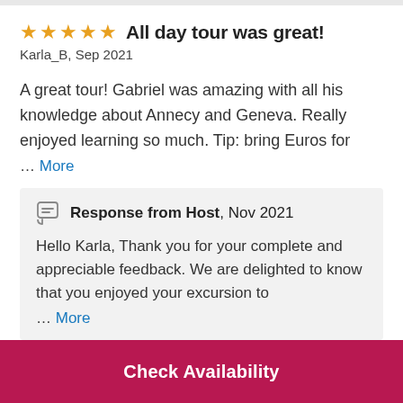All day tour was great!
Karla_B, Sep 2021
A great tour! Gabriel was amazing with all his knowledge about Annecy and Geneva. Really enjoyed learning so much. Tip: bring Euros for … More
Response from Host, Nov 2021
Hello Karla, Thank you for your complete and appreciable feedback. We are delighted to know that you enjoyed your excursion to … More
Check Availability